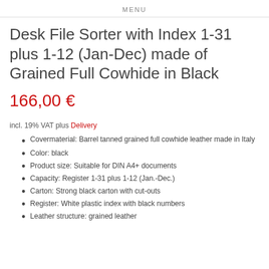MENU
Desk File Sorter with Index 1-31 plus 1-12 (Jan-Dec) made of Grained Full Cowhide in Black
166,00 €
incl. 19% VAT plus Delivery
Covermaterial: Barrel tanned grained full cowhide leather made in Italy
Color: black
Product size: Suitable for DIN A4+ documents
Capacity: Register 1-31 plus 1-12 (Jan.-Dec.)
Carton: Strong black carton with cut-outs
Register: White plastic index with black numbers
Leather structure: grained leather